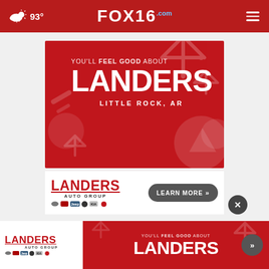FOX16.com — 93° weather, navigation header
[Figure (advertisement): Landers Auto Group advertisement banner: red background with snowflake decorations. Text reads YOU'LL FEEL GOOD ABOUT LANDERS LITTLE ROCK, AR]
[Figure (logo): Landers Auto Group logo with brand partner logos (Chrysler, Ram, Jeep, Dodge, Kia, Toyota) and LEARN MORE button]
[Figure (advertisement): Bottom sticky banner: Landers Auto Group logo on left, red section with YOU'LL FEEL GOOD ABOUT LANDERS text and navigation arrow on right]